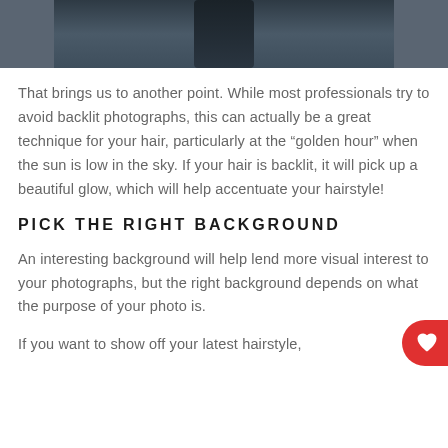[Figure (photo): Partial photo of a person in dark clothing, cropped at the top of the page, with a blurred outdoor background]
That brings us to another point. While most professionals try to avoid backlit photographs, this can actually be a great technique for your hair, particularly at the “golden hour” when the sun is low in the sky. If your hair is backlit, it will pick up a beautiful glow, which will help accentuate your hairstyle!
PICK THE RIGHT BACKGROUND
An interesting background will help lend more visual interest to your photographs, but the right background depends on what the purpose of your photo is.
If you want to show off your latest hairstyle,